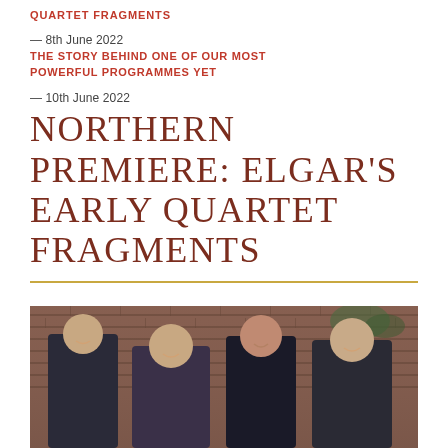QUARTET FRAGMENTS
— 8th June 2022
THE STORY BEHIND ONE OF OUR MOST POWERFUL PROGRAMMES YET
— 10th June 2022
NORTHERN PREMIERE: ELGAR'S EARLY QUARTET FRAGMENTS
[Figure (photo): Four musicians (two men and two women) standing in front of a red brick wall, smiling at the camera. They are dressed in dark clothing.]